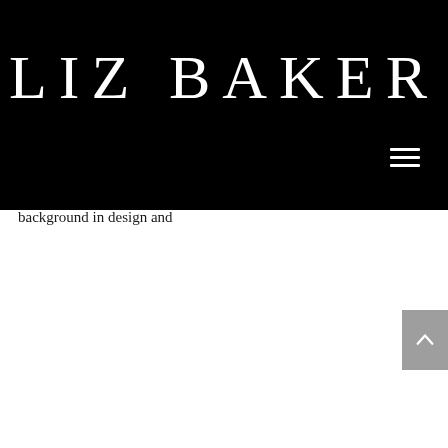LIZ BAKER
resplendent reflection of what's growing in our meadows and gardens?
Holly-Bee Flowers is a flower garden and floral design studio based in Dartington, Devon.  Holly specialises in growing and arranging flowers and greenery for weddings, workshops and bouquets.  Working with the seasons her flowers are natural, evocative and beautiful.  Holly created Holly-Bee Flowers in 2015 with a background in design and